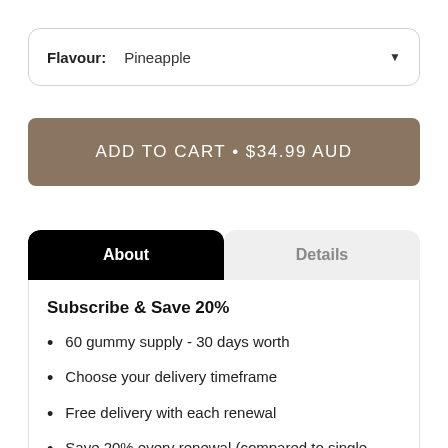Flavour: Pineapple
ADD TO CART • $34.99 AUD
About
Details
Subscribe & Save 20%
60 gummy supply - 30 days worth
Choose your delivery timeframe
Free delivery with each renewal
Save 20% every renewal (compared to single